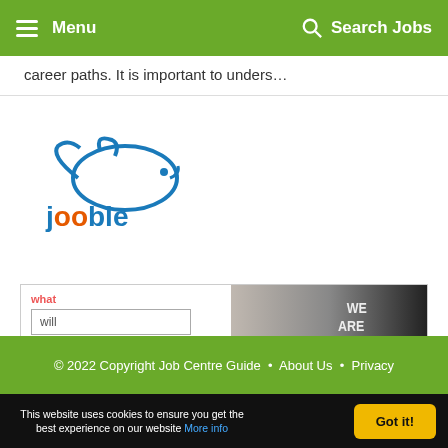Menu | Search Jobs
career paths. It is important to unders…
[Figure (logo): Jooble logo — blue rabbit/fish graphic above the word 'jooble' in blue and orange text]
[Figure (screenshot): Indeed job search advertisement banner with 'what' label, text input field containing 'will', photo of smiling woman, 'WE ARE OPEN' chalkboard sign, and Indeed logo]
© 2022 Copyright Job Centre Guide • About Us • Privacy
This website uses cookies to ensure you get the best experience on our website More info